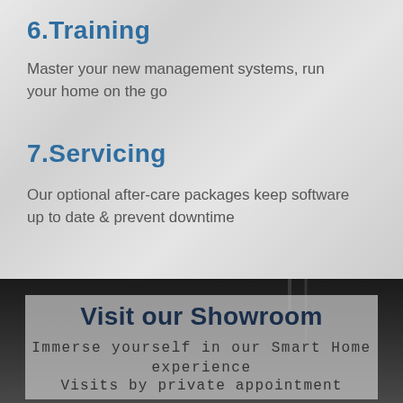6.Training
Master your new management systems, run your home on the go
7.Servicing
Our optional after-care packages keep software up to date & prevent downtime
[Figure (photo): Dark interior room / showroom photograph used as background for the lower section]
Visit our Showroom
Immerse yourself in our Smart Home experience
Visits by private appointment